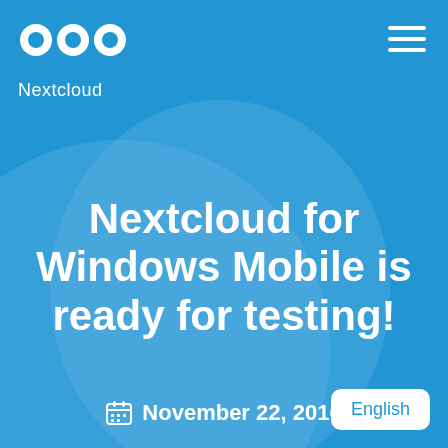[Figure (logo): Nextcloud logo: three white circles arranged in a row above the word Nextcloud in white text]
Nextcloud for Windows Mobile is ready for testing!
November 22, 2016
English